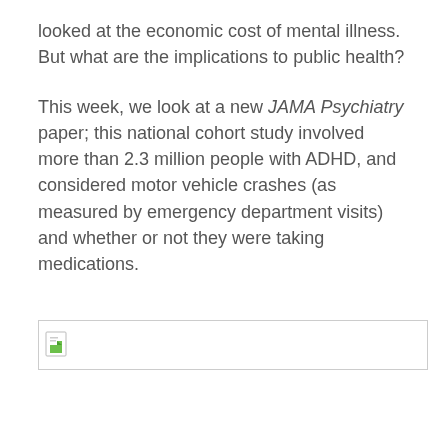looked at the economic cost of mental illness. But what are the implications to public health?
This week, we look at a new JAMA Psychiatry paper; this national cohort study involved more than 2.3 million people with ADHD, and considered motor vehicle crashes (as measured by emergency department visits) and whether or not they were taking medications.
[Figure (other): Broken/unloaded image placeholder showing a small document icon in top-left corner]